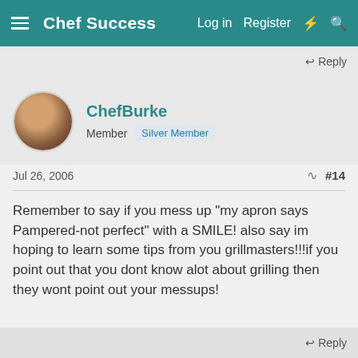Chef Success  Log in  Register
Reply
ChefBurke
Member  Silver Member
Jul 26, 2006  #14
Remember to say if you mess up "my apron says Pampered-not perfect" with a SMILE! also say im hoping to learn some tips from you grillmasters!!!if you point out that you dont know alot about grilling then they wont point out your messups!
Reply